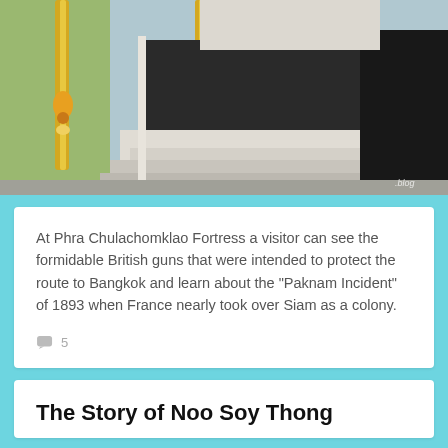[Figure (photo): Photograph of Phra Chulachomklao Fortress showing a large dark gun emplacement or fortification structure with gold-painted poles or decorative elements and flower garlands, outdoors in bright sunlight. A watermark partially reads '.blog' in the bottom right corner.]
At Phra Chulachomklao Fortress a visitor can see the formidable British guns that were intended to protect the route to Bangkok and learn about the "Paknam Incident" of 1893 when France nearly took over Siam as a colony.
5
The Story of Noo Soy Thong